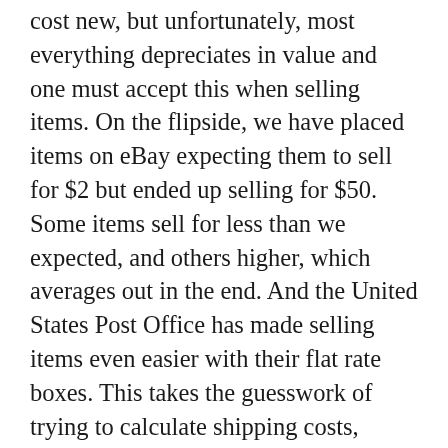cost new, but unfortunately, most everything depreciates in value and one must accept this when selling items. On the flipside, we have placed items on eBay expecting them to sell for $2 but ended up selling for $50. Some items sell for less than we expected, and others higher, which averages out in the end. And the United States Post Office has made selling items even easier with their flat rate boxes. This takes the guesswork of trying to calculate shipping costs, especially when you have no idea where the winning bidder lives until they win. The one important thing to remember when using eBay to sell your stuff is to research the item you are selling and give as much detail about the item as possible and use high quality photos and lots of key words in the title. Never oversell an item, or you risk getting negative feedback.